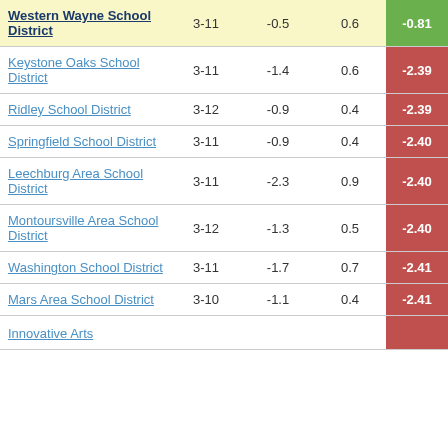| School District | Grades | Col3 | Col4 | Score |
| --- | --- | --- | --- | --- |
| Western Wayne School District | 3-11 | -0.5 | 0.6 | -0.81 |
| Keystone Oaks School District | 3-11 | -1.4 | 0.6 | -2.39 |
| Ridley School District | 3-12 | -0.9 | 0.4 | -2.39 |
| Springfield School District | 3-11 | -0.9 | 0.4 | -2.40 |
| Leechburg Area School District | 3-11 | -2.3 | 0.9 | -2.40 |
| Montoursville Area School District | 3-12 | -1.3 | 0.5 | -2.40 |
| Washington School District | 3-11 | -1.7 | 0.7 | -2.41 |
| Mars Area School District | 3-10 | -1.1 | 0.4 | -2.41 |
| Innovative Arts |  |  |  |  |